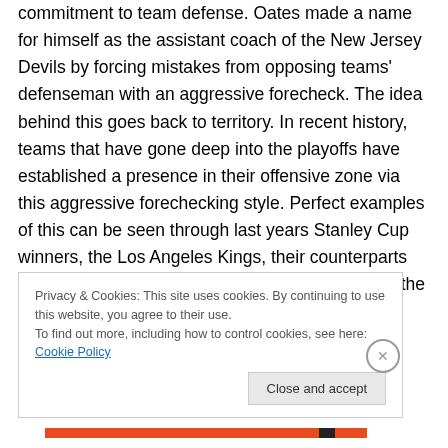commitment to team defense. Oates made a name for himself as the assistant coach of the New Jersey Devils by forcing mistakes from opposing teams' defenseman with an aggressive forecheck. The idea behind this goes back to territory. In recent history, teams that have gone deep into the playoffs have established a presence in their offensive zone via this aggressive forechecking style. Perfect examples of this can be seen through last years Stanley Cup winners, the Los Angeles Kings, their counterparts and Oates' old team, the New Jersey Devils, and the Boston Bruins . The pressure that these teams
Privacy & Cookies: This site uses cookies. By continuing to use this website, you agree to their use. To find out more, including how to control cookies, see here: Cookie Policy
Close and accept